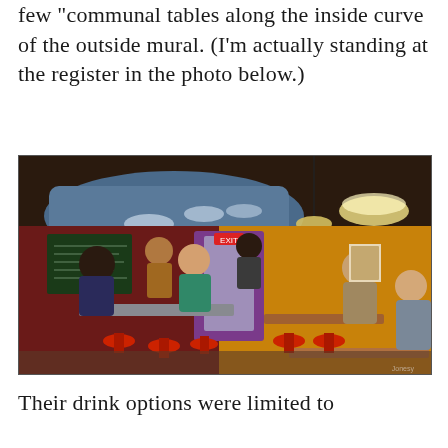few communal tables along the inside curve of the outside mural. (I'm actually standing at the register in the photo below.)
[Figure (photo): Interior of a casual restaurant/bar showing communal tables with red stools, people seated and standing, colorful walls in red/purple and yellow/orange, with pendant lighting and a chalkboard menu visible in the background.]
Their drink options were limited to